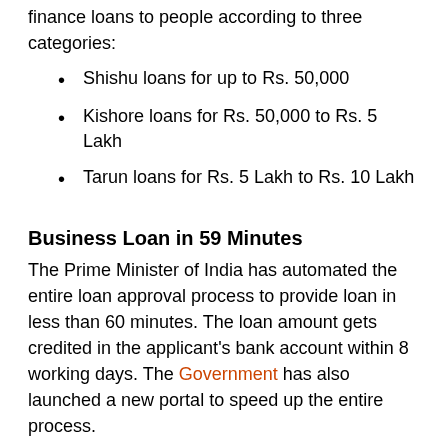finance loans to people according to three categories:
Shishu loans for up to Rs. 50,000
Kishore loans for Rs. 50,000 to Rs. 5 Lakh
Tarun loans for Rs. 5 Lakh to Rs. 10 Lakh
Business Loan in 59 Minutes
The Prime Minister of India has automated the entire loan approval process to provide loan in less than 60 minutes. The loan amount gets credited in the applicant's bank account within 8 working days. The Government has also launched a new portal to speed up the entire process.
4E (End to End Energy Efficiency)
It was launched jointly by the India SME Technology Services Ltd. and World Bank aiming to execute energy efficiency across India meets the costs of capital